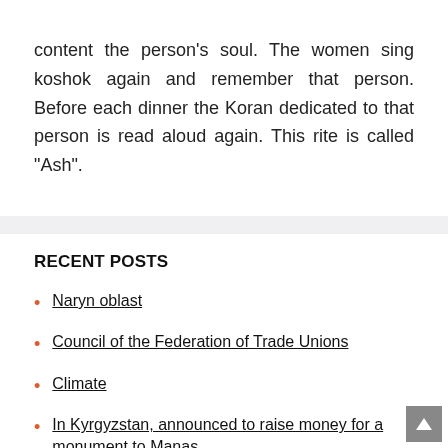content the person's soul. The women sing koshok again and remember that person. Before each dinner the Koran dedicated to that person is read aloud again. This rite is called "Ash".
RECENT POSTS
Naryn oblast
Council of the Federation of Trade Unions
Climate
In Kyrgyzstan, announced to raise money for a monument to Manas
Talas oblast
Land use: Soil erosion in the hills, pasture degradation…